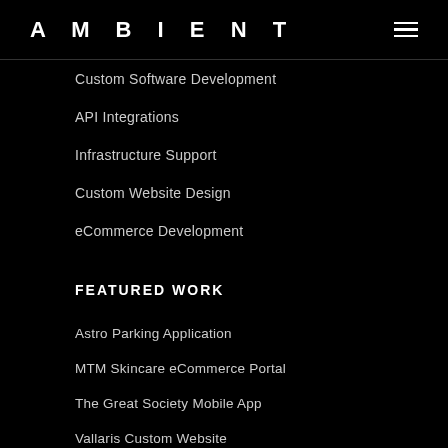AMBIENT
Custom Software Development
API Integrations
Infrastructure Support
Custom Website Design
eCommerce Development
FEATURED WORK
Astro Parking Application
MTM Skincare eCommerce Portal
The Great Society Mobile App
Vallaris Custom Website
Asia Designer Directory Portal